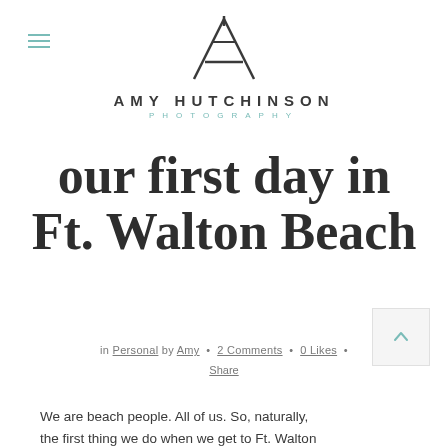[Figure (logo): Amy Hutchinson Photography logo — triangular 'A' monogram SVG above the brand name]
AMY HUTCHINSON
PHOTOGRAPHY
our first day in Ft. Walton Beach
in Personal by Amy · 2 Comments · 0 Likes · Share
We are beach people. All of us. So, naturally, the first thing we do when we get to Ft. Walton